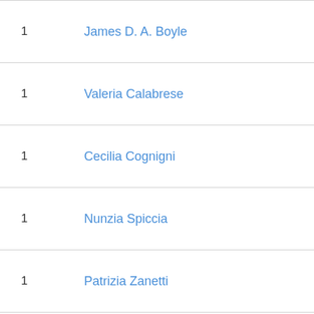| # | Name |
| --- | --- |
| 1 | James D. A. Boyle |
| 1 | Valeria Calabrese |
| 1 | Cecilia Cognigni |
| 1 | Nunzia Spiccia |
| 1 | Patrizia Zanetti |